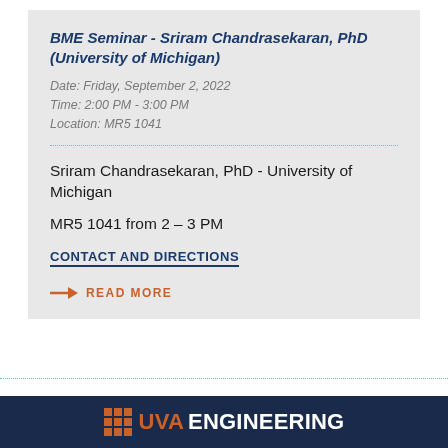BME Seminar - Sriram Chandrasekaran, PhD (University of Michigan)
Date: Friday, September 2, 2022
Time: 2:00 PM - 3:00 PM
Location: MR5 1041
Sriram Chandrasekaran, PhD - University of Michigan
MR5 1041 from 2 – 3 PM
CONTACT AND DIRECTIONS
READ MORE
[Figure (logo): UVA Engineering logo with orange grid icon and text on dark navy background]